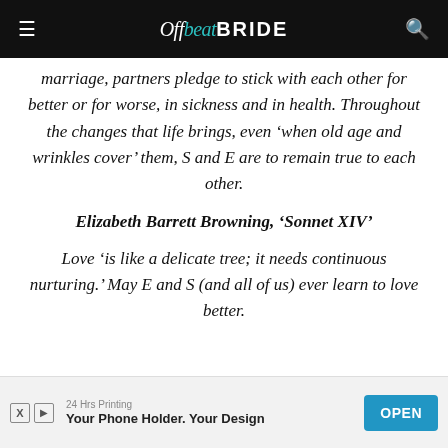Offbeat Bride
marriage, partners pledge to stick with each other for better or for worse, in sickness and in health. Throughout the changes that life brings, even ‘when old age and wrinkles cover’ them, S and E are to remain true to each other.
Elizabeth Barrett Browning, ‘Sonnet XIV’
Love ‘is like a delicate tree; it needs continuous nurturing.’ May E and S (and all of us) ever learn to love better.
24 Hrs Printing | Your Phone Holder. Your Design | OPEN